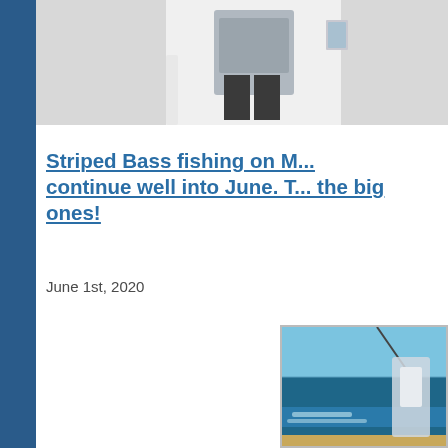[Figure (photo): Person standing on a boat, upper body visible, wearing grey sweatshirt, white boat railing visible]
Striped Bass fishing on M... continue well into June. T... the big ones!
June 1st, 2020
[Figure (photo): Person standing on back of fishing boat with ocean wake visible behind, blue sky, fishing rod visible]